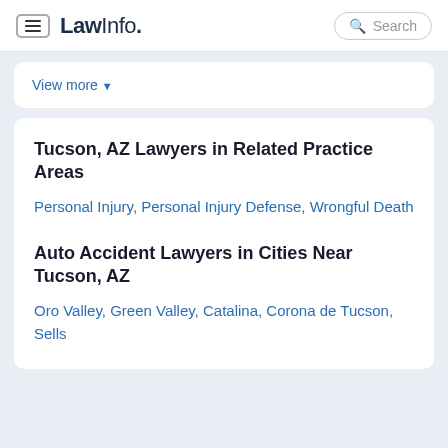LawInfo. Search
View more
Tucson, AZ Lawyers in Related Practice Areas
Personal Injury, Personal Injury Defense, Wrongful Death
Auto Accident Lawyers in Cities Near Tucson, AZ
Oro Valley, Green Valley, Catalina, Corona de Tucson, Sells